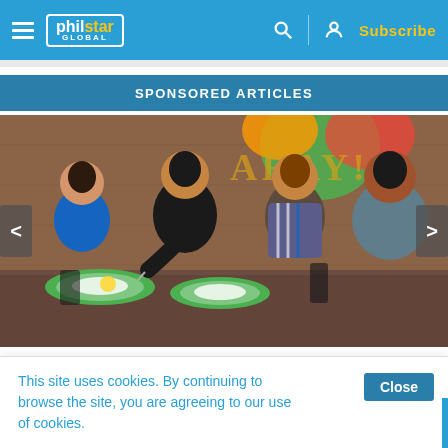philstar GLOBAL — Subscribe
SPONSORED ARTICLES
[Figure (photo): Four people seated at a restaurant table eating a meal together. Colorful mural in background. Food dishes with rice and other Filipino dishes on the table.]
'Tag-tipid' hacks: Here are 3 budget-friendly activities na masarap 'sulit-l
This site uses cookies. By continuing to browse the site, you are agreeing to our use of cookies.